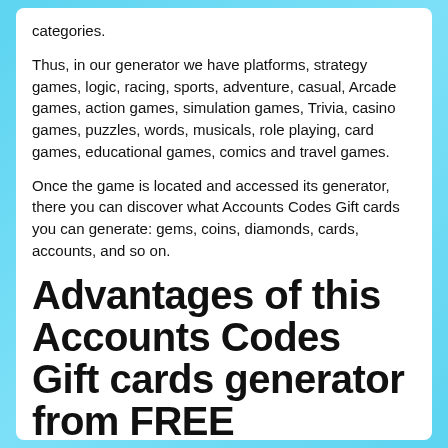categories.
Thus, in our generator we have platforms, strategy games, logic, racing, sports, adventure, casual, Arcade games, action games, simulation games, Trivia, casino games, puzzles, words, musicals, role playing, card games, educational games, comics and travel games.
Once the game is located and accessed its generator, there you can discover what Accounts Codes Gift cards you can generate: gems, coins, diamonds, cards, accounts, and so on.
Advantages of this Accounts Codes Gift cards generator from FREE CRUCHYROLL ACCOUNT
The use of this tool will never pose a threat to the player or